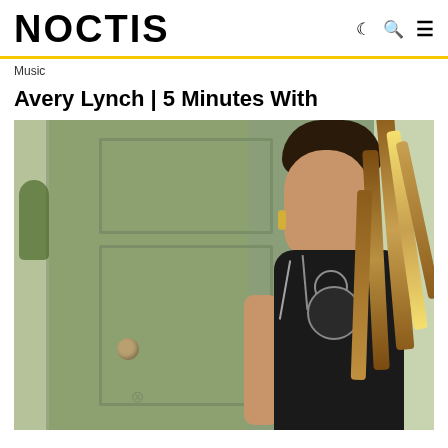NOCTIS
Music
Avery Lynch | 5 Minutes With
[Figure (photo): Photo of Avery Lynch standing in front of a sage green door, wearing a black patterned outfit with braided hair extensions]